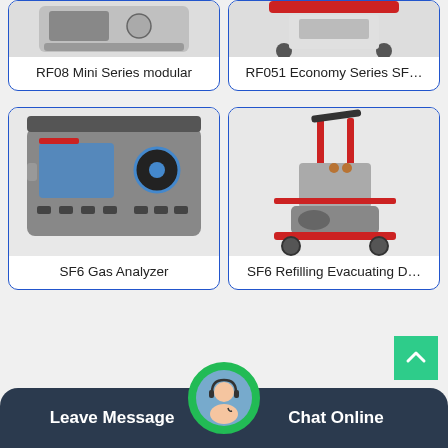[Figure (photo): RF08 Mini Series modular product photo (top portion visible)]
RF08 Mini Series modular
[Figure (photo): RF051 Economy Series SF... product photo (top portion visible, red cart)]
RF051 Economy Series SF…
[Figure (photo): SF6 Gas Analyzer – grey tabletop device with display and knobs]
SF6 Gas Analyzer
[Figure (photo): SF6 Refilling Evacuating D... – red wheeled cart with mechanical components]
SF6 Refilling Evacuating D…
[Figure (photo): Customer service representative avatar with headset in green circle]
Leave Message
Chat Online